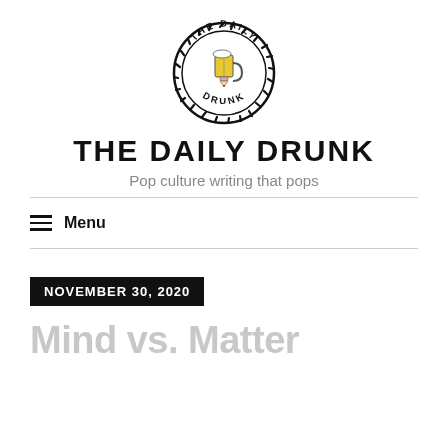[Figure (logo): The Daily Drunk bottle cap logo — a circular bottle cap shape with serrated edges, text 'THE DAILY' arcing on top and 'DRUNK' on the bottom, with a yellow beer mug pencil illustration in the center]
THE DAILY DRUNK
Pop culture writing that pops
≡  Menu
NOVEMBER 30, 2020
Mind vs. Matter